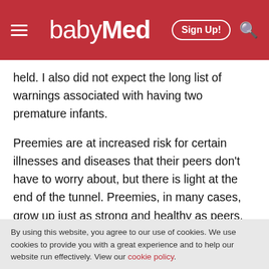babyMed — Sign Up!
held. I also did not expect the long list of warnings associated with having two premature infants.
Preemies are at increased risk for certain illnesses and diseases that their peers don't have to worry about, but there is light at the end of the tunnel. Preemies, in many cases, grow up just as strong and healthy as peers, no matter how small they were in the beginning. And, in some cases, preemies end up surpassing their peers. My preemies aren't preemies any more. At the age of
By using this website, you agree to our use of cookies. We use cookies to provide you with a great experience and to help our website run effectively. View our cookie policy.